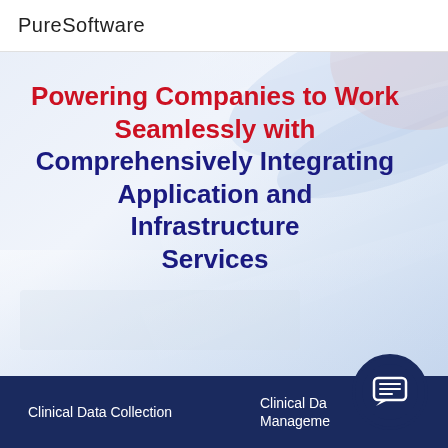PureSoftware
[Figure (illustration): Abstract blurred background photo showing a laptop keyboard with blue and white tones, diagonal light streaks across the image]
Powering Companies to Work Seamlessly with Comprehensively Integrating Application and Infrastructure Services
Clinical Data Collection   Clinical Da Management
[Figure (illustration): Chat/message icon in white inside a dark navy blue circle, positioned at bottom right corner overlapping the footer bar]